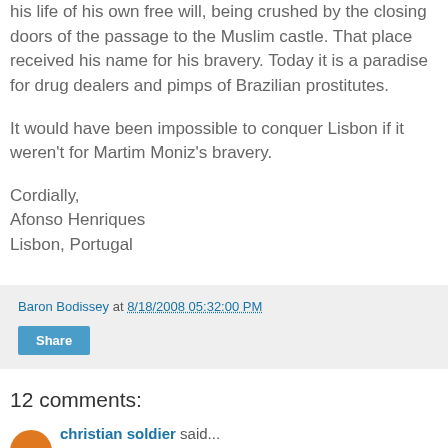his life of his own free will, being crushed by the closing doors of the passage to the Muslim castle. That place received his name for his bravery. Today it is a paradise for drug dealers and pimps of Brazilian prostitutes.
It would have been impossible to conquer Lisbon if it weren't for Martim Moniz's bravery.
Cordially,
Afonso Henriques
Lisbon, Portugal
Baron Bodissey at 8/18/2008 05:32:00 PM
Share
12 comments:
christian soldier said...